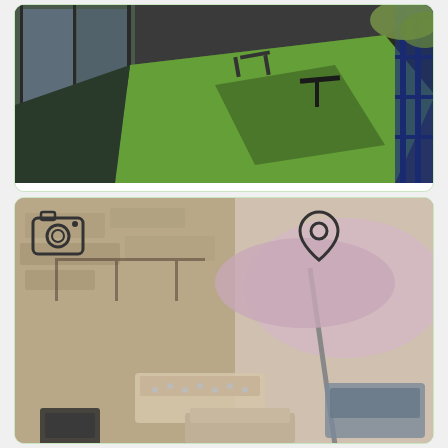[Figure (photo): Aerial/top-down view of an apartment balcony with green artificial grass, metal chairs, and a small table, viewed from above with blue railing visible]
L'Apartement 6.6Km
From €2025 / week
Book Now
[Figure (photo): Aerial view of a terrace/courtyard with outdoor furniture including lounge chairs, a table, and a large umbrella, surrounded by stone walls]